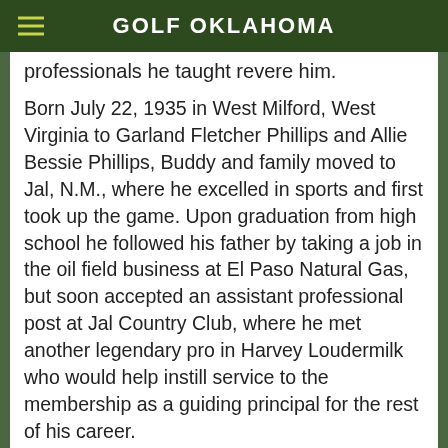GOLF OKLAHOMA
professionals he taught revere him.
Born July 22, 1935 in West Milford, West Virginia to Garland Fletcher Phillips and Allie Bessie Phillips, Buddy and family moved to Jal, N.M., where he excelled in sports and first took up the game. Upon graduation from high school he followed his father by taking a job in the oil field business at El Paso Natural Gas, but soon accepted an assistant professional post at Jal Country Club, where he met another legendary pro in Harvey Loudermilk who would help instill service to the membership as a guiding principal for the rest of his career.
[Figure (photo): Close-up photo of a person's face]
It's a demanding